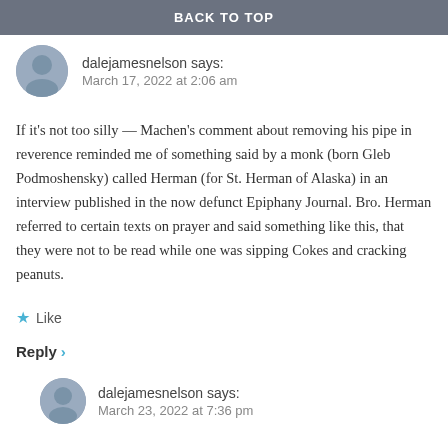BACK TO TOP
dalejamesnelson says:
March 17, 2022 at 2:06 am
If it's not too silly — Machen's comment about removing his pipe in reverence reminded me of something said by a monk (born Gleb Podmoshensky) called Herman (for St. Herman of Alaska) in an interview published in the now defunct Epiphany Journal. Bro. Herman referred to certain texts on prayer and said something like this, that they were not to be read while one was sipping Cokes and cracking peanuts.
★ Like
Reply ›
dalejamesnelson says:
March 23, 2022 at 7:36 pm